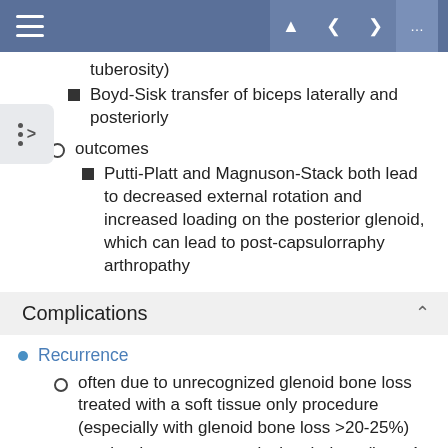Boyd-Sisk transfer of biceps laterally and posteriorly
outcomes
Putti-Platt and Magnuson-Stack both lead to decreased external rotation and increased loading on the posterior glenoid, which can lead to post-capsulorraphy arthropathy
Complications
Recurrence
often due to unrecognized glenoid bone loss treated with a soft tissue only procedure (especially with glenoid bone loss >20-25%)
can be due to poor surgical technique (ie, < 4 suture anchors)
increased risk with preoperative risk factors